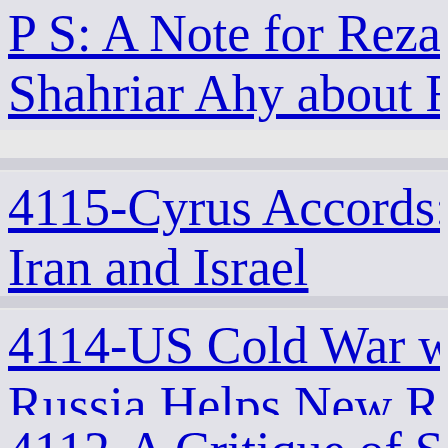P S: A Note for Reza F. Shahriar Ahy about Fu
4115-Cyrus Accords: Iran and Israel
4114-US Cold War w Russia Helps New Ri IslamicKKK
4112-A Critique of Sc